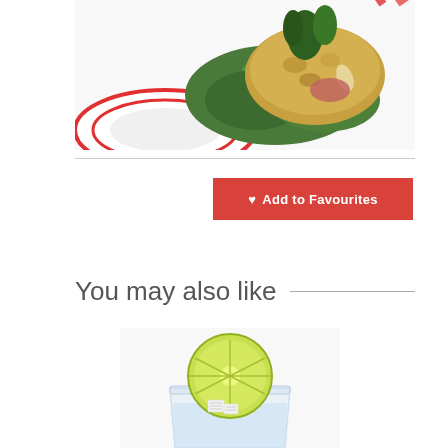[Figure (photo): Food dish photo showing a breaded/crusted food item on a red-rimmed white plate with green salad leaves, herbs on top, partially cropped at top]
[Figure (illustration): Red button with white heart icon and text 'Add to Favourites']
You may also like
[Figure (photo): Drink photo showing a glass with a lime/lemon wheel garnish and white sugar cubes, partially cropped at bottom]